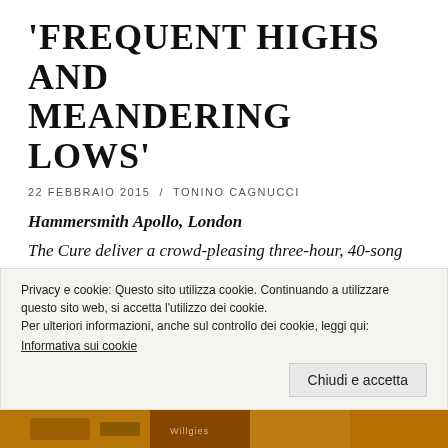'FREQUENT HIGHS AND MEANDERING LOWS'
22 FEBBRAIO 2015 / TONINO CAGNUCCI
Hammersmith Apollo, London
The Cure deliver a crowd-pleasing three-hour, 40-song Christmas gig with a set list apparently on 'shuffle'
[Figure (photo): Concert photo of a singer with curly hair performing on stage with golden/yellow stage lighting]
Privacy e cookie: Questo sito utilizza cookie. Continuando a utilizzare questo sito web, si accetta l'utilizzo dei cookie.
Per ulteriori informazioni, anche sul controllo dei cookie, leggi qui:
Informativa sui cookie
Chiudi e accetta
[Figure (photo): Bottom strip showing concert/band photo with warm orange tones]